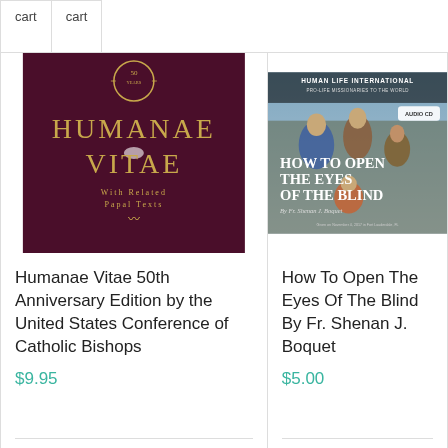cart
cart
[Figure (photo): Book cover: Humanae Vitae 50th Anniversary Edition - dark maroon background with gold text]
Humanae Vitae 50th Anniversary Edition by the United States Conference of Catholic Bishops
$9.95
[Figure (photo): Audio CD cover: How To Open The Eyes Of The Blind By Fr. Shenan J. Boquet - Human Life International, Pro-Life Missionaries to the World]
How To Open The Eyes Of The Blind By Fr. Shenan J. Boquet
$5.00